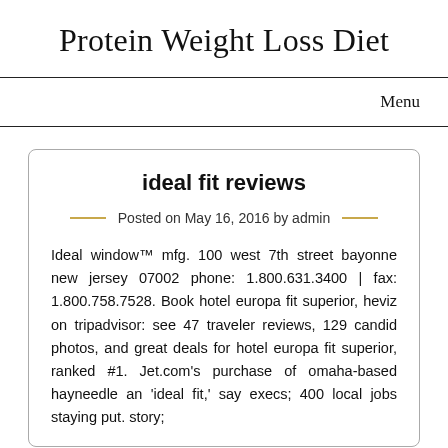Protein Weight Loss Diet
Menu
ideal fit reviews
Posted on May 16, 2016 by admin
Ideal window™ mfg. 100 west 7th street bayonne new jersey 07002 phone: 1.800.631.3400 | fax: 1.800.758.7528. Book hotel europa fit superior, heviz on tripadvisor: see 47 traveler reviews, 129 candid photos, and great deals for hotel europa fit superior, ranked #1. Jet.com's purchase of omaha-based hayneedle an 'ideal fit,' say execs; 400 local jobs staying put. story;